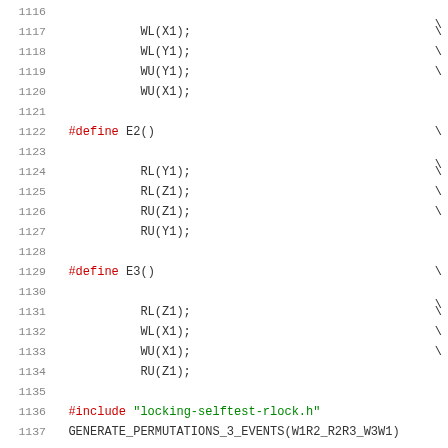Source code listing lines 1116-1137, C preprocessor macros and includes
1116 (partial), 1117 WL(X1);, 1118 WL(Y1);, 1119 WU(Y1);, 1120 WU(X1);, 1121 (blank), 1122 #define E2(), 1123 (blank), 1124 RL(Y1);, 1125 RL(Z1);, 1126 RU(Z1);, 1127 RU(Y1);, 1128 (blank), 1129 #define E3(), 1130 (blank), 1131 RL(Z1);, 1132 WL(X1);, 1133 WU(X1);, 1134 RU(Z1);, 1135 (blank), 1136 #include "locking-selftest-rlock.h", 1137 GENERATE_PERMUTATIONS_3_EVENTS(W1R2_R2R3_W3W1)